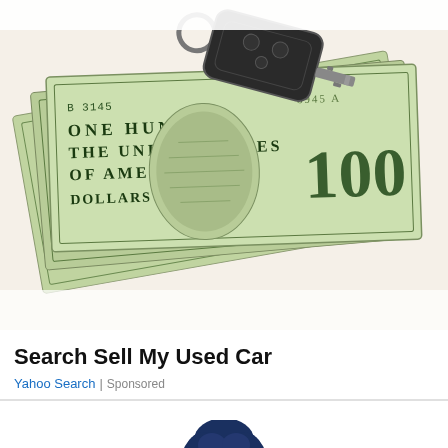[Figure (photo): Photo of a car key fob resting on top of a stack of US $100 dollar bills]
Search Sell My Used Car
Yahoo Search | Sponsored
[Figure (logo): International Institute of Information Technology logo: a blue oak tree above the text INTERNATIONAL INSTITUTE OF INFORMATION TECHNOLOGY]